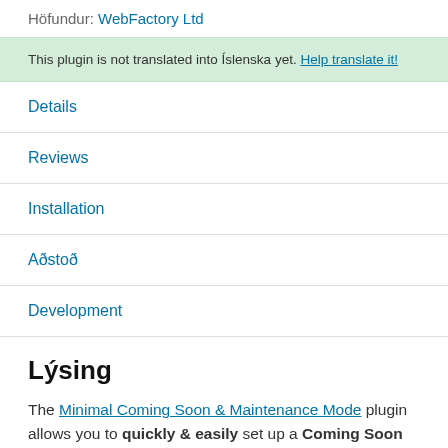Höfundur: WebFactory Ltd
This plugin is not translated into Íslenska yet. Help translate it!
Details
Reviews
Installation
Aðstoð
Development
Lýsing
The Minimal Coming Soon & Maintenance Mode plugin allows you to quickly & easily set up a Coming Soon Page, Maintenance Mode Page, Landing Page or Launch Page for your website. It's